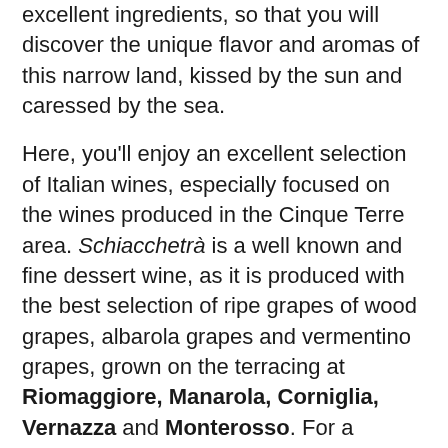excellent ingredients, so that you will discover the unique flavor and aromas of this narrow land, kissed by the sun and caressed by the sea.
Here, you'll enjoy an excellent selection of Italian wines, especially focused on the wines produced in the Cinque Terre area. Schiacchetrà is a well known and fine dessert wine, as it is produced with the best selection of ripe grapes of wood grapes, albarola grapes and vermentino grapes, grown on the terracing at Riomaggiore, Manarola, Corniglia, Vernazza and Monterosso. For a delicious experience, you can order an octopus salad, grilled fish, cuttlefish with squid ink spaghetti, escabeche, and tiramisu – mixed feelings accompanied by a friendly atmosphere. If you are nearby, do not miss  a visit to this restaurant. In high seasons, we recommend you call to make a